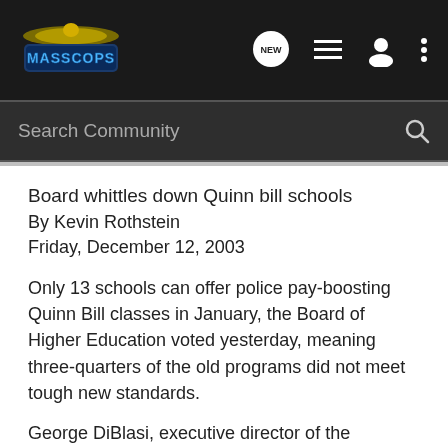[Figure (logo): MassCops logo with eagle and stylized text on dark background, with navigation icons (NEW speech bubble, list, user, more)]
Search Community
Board whittles down Quinn bill schools
By Kevin Rothstein
Friday, December 12, 2003
Only 13 schools can offer police pay-boosting Quinn Bill classes in January, the Board of Higher Education voted yesterday, meaning three-quarters of the old programs did not meet tough new standards.
George DiBlasi, executive director of the Massachusetts Chiefs of Police Association, said he was glad to see the strict measures put in place.
``The idea was to raise the bar to ensure the quality of